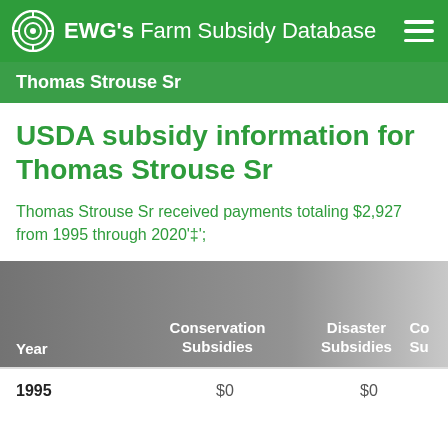EWG's Farm Subsidy Database
Thomas Strouse Sr
USDA subsidy information for Thomas Strouse Sr
Thomas Strouse Sr received payments totaling $2,927 from 1995 through 2020'‡';
| Year | Conservation Subsidies | Disaster Subsidies | Co... Sub... |
| --- | --- | --- | --- |
| 1995 | $0 | $0 |  |